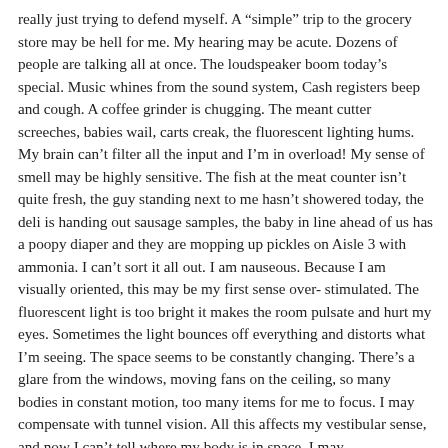really just trying to defend myself. A “simple” trip to the grocery store may be hell for me. My hearing may be acute. Dozens of people are talking all at once. The loudspeaker boom today’s special. Music whines from the sound system, Cash registers beep and cough. A coffee grinder is chugging. The meant cutter screeches, babies wail, carts creak, the fluorescent lighting hums. My brain can’t filter all the input and I’m in overload! My sense of smell may be highly sensitive. The fish at the meat counter isn’t quite fresh, the guy standing next to me hasn’t showered today, the deli is handing out sausage samples, the baby in line ahead of us has a poopy diaper and they are mopping up pickles on Aisle 3 with ammonia. I can’t sort it all out. I am nauseous. Because I am visually oriented, this may be my first sense over- stimulated. The fluorescent light is too bright it makes the room pulsate and hurt my eyes. Sometimes the light bounces off everything and distorts what I’m seeing. The space seems to be constantly changing. There’s a glare from the windows, moving fans on the ceiling, so many bodies in constant motion, too many items for me to focus. I may compensate with tunnel vision. All this affects my vestibular sense, and now I can’t tell where my body is in space. I may